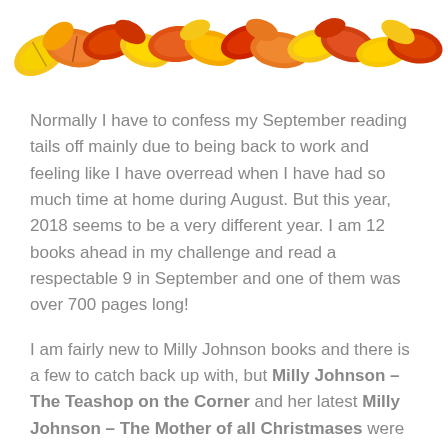[Figure (illustration): Decorative autumn/fall leaves in yellow, orange, and red arranged in a row across the top of the page.]
Normally I have to confess my September reading tails off mainly due to being back to work and feeling like I have overread when I have had so much time at home during August. But this year, 2018 seems to be a very different year. I am 12 books ahead in my challenge and read a respectable 9 in September and one of them was over 700 pages long!
I am fairly new to Milly Johnson books and there is a few to catch back up with, but Milly Johnson – The Teashop on the Corner and her latest Milly Johnson – The Mother of all Christmases were both enjoyed in September, even if one of them had a slight Christmas feel! Unfortunately the ARC copy I had via netgalley was